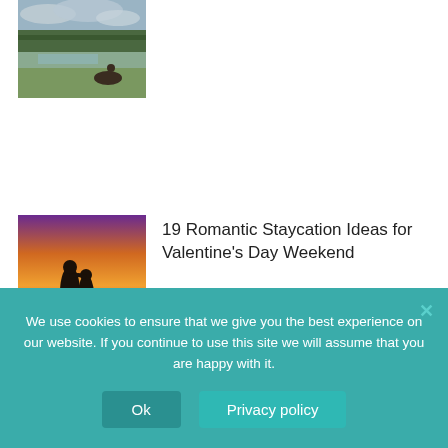[Figure (photo): Landscape scenic photo showing a field with water and trees under a cloudy sky, with a person on horseback visible]
[Figure (photo): Romantic sunset silhouette of couple embracing on a beach]
19 Romantic Staycation Ideas for Valentine's Day Weekend
[Figure (photo): Food photo showing a King Cake and Mardi Gras themed food items with purple, green and gold decorations]
Celebrate Mardi Gras By Mail Ordering A King Cake
We use cookies to ensure that we give you the best experience on our website. If you continue to use this site we will assume that you are happy with it.